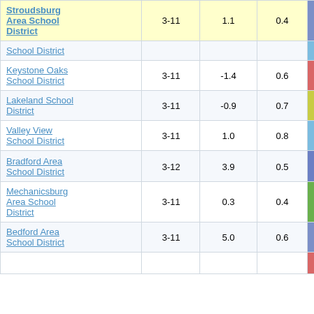| School District | Grades |  |  | Score |
| --- | --- | --- | --- | --- |
| Stroudsburg Area School District | 3-11 | 1.1 | 0.4 | 2.54 |
| School District |  |  |  |  |
| Keystone Oaks School District | 3-11 | -1.4 | 0.6 | -2.39 |
| Lakeland School District | 3-11 | -0.9 | 0.7 | -1.28 |
| Valley View School District | 3-11 | 1.0 | 0.8 | 1.30 |
| Bradford Area School District | 3-12 | 3.9 | 0.5 | 7.92 |
| Mechanicsburg Area School District | 3-11 | 0.3 | 0.4 | 0.82 |
| Bedford Area School District | 3-11 | 5.0 | 0.6 | 8.52 |